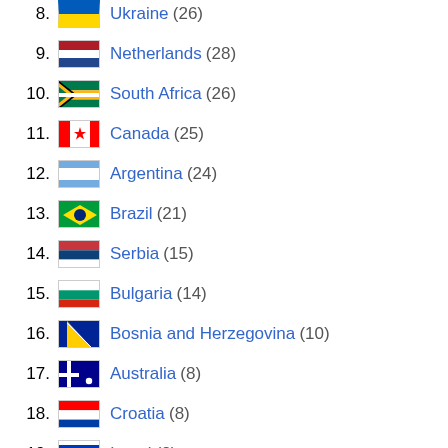8. Ukraine (26)
9. Netherlands (28)
10. South Africa (26)
11. Canada (25)
12. Argentina (24)
13. Brazil (21)
14. Serbia (15)
15. Bulgaria (14)
16. Bosnia and Herzegovina (10)
17. Australia (8)
18. Croatia (8)
19. Israel (8)